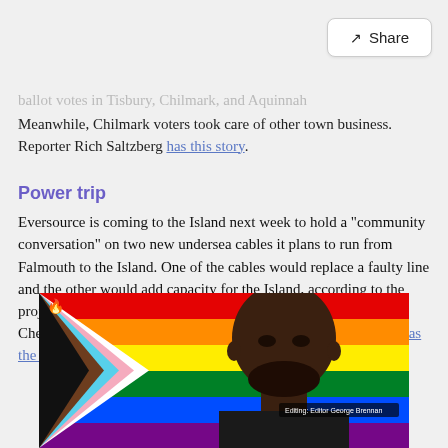ballot votes in Tisbury, Chilmark, and Aquinnah. Meanwhile, Chilmark voters took care of other town business. Reporter Rich Saltzberg has this story.
Power trip
Eversource is coming to the Island next week to hold a "community conversation" on two new undersea cables it plans to run from Falmouth to the Island. One of the cables would replace a faulty line and the other would add capacity for the Island, according to the project coordinator. The event to gather feedback is being held at Chef Deon's at the VFW in Oak Bluffs. Editor George Brennan has the details.
[Figure (photo): A man with a bald head and beard in front of a Progress Pride flag background, with a small caption overlay in the bottom right corner.]